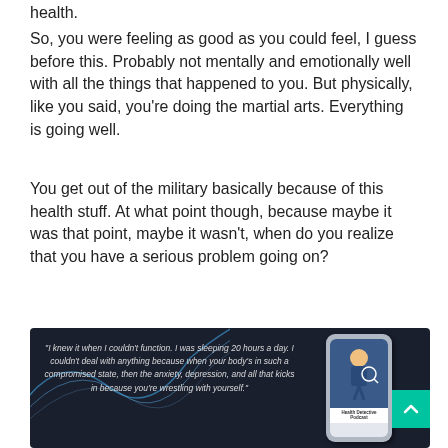health.
So, you were feeling as good as you could feel, I guess before this. Probably not mentally and emotionally well with all the things that happened to you. But physically, like you said, you're doing the martial arts. Everything is going well.
You get out of the military basically because of this health stuff. At what point though, because maybe it was that point, maybe it wasn't, when do you realize that you have a serious problem going on?
[Figure (infographic): Dark background promotional image with decorative swirl lines and italic quote text: '"I knew it when I couldn't function. I was sleeping 20 hours a day. I couldn't deal with anything because when your body's in such a compromised state, then the anxiety, depression, and all that kicks in because you're wrestling with yourself."' with a phone mockup showing podcast artwork for 'Health Detective Podcast' and a teal back-to-top button with upward chevron.]